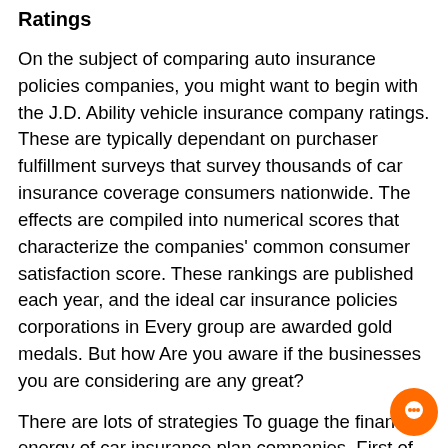Ratings
On the subject of comparing auto insurance policies companies, you might want to begin with the J.D. Ability vehicle insurance company ratings. These are typically dependant on purchaser fulfillment surveys that survey thousands of car insurance coverage consumers nationwide. The effects are compiled into numerical scores that characterize the companies’ common consumer satisfaction score. These rankings are published each year, and the ideal car insurance policies corporations in Every group are awarded gold medals. But how Are you aware if the businesses you are considering are any great?
There are lots of strategies To guage the financial energy of car insurance plan companies. First of all, you could Look at the AM Greatest insurance provider ranking, which provides economical balance scores for car or truck insurance policies organizations. Whether the car insurance provid has an A, B, C, or F score, it’s important to know the way